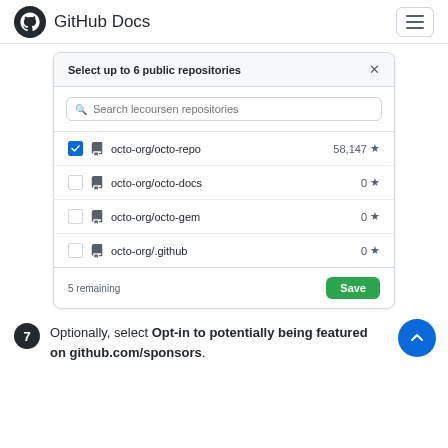GitHub Docs
[Figure (screenshot): GitHub repository selector dialog showing 'Select up to 6 public repositories' with a search box and list of repositories: octo-org/octo-repo (58,147 stars, checked), octo-org/octo-docs (0 stars), octo-org/octo-gem (0 stars), octo-org/github (0 stars). Footer shows '5 remaining' and a green Save button.]
7. Optionally, select Opt-in to potentially being featured on github.com/sponsors.